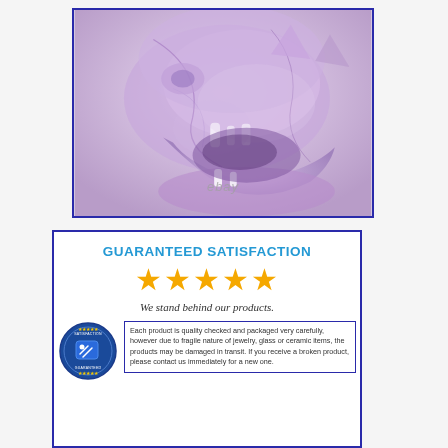[Figure (photo): Close-up photograph of a translucent purple/amethyst crystal carved wolf or dragon head sculpture with mouth open, showing fangs. Has an eBay watermark in the lower center.]
[Figure (infographic): Guaranteed Satisfaction banner with blue text header 'GUARANTEED SATISFACTION', five gold stars, text 'We stand behind our products.', a circular blue badge with a tag icon on the left, and a text box on the right describing product quality guarantee.]
GUARANTEED SATISFACTION
We stand behind our products.
Each product is quality checked and packaged very carefully, however due to fragile nature of jewelry, glass or ceramic items, the products may be damaged in transit. If you receive a broken product, please contact us immediately for a new one.